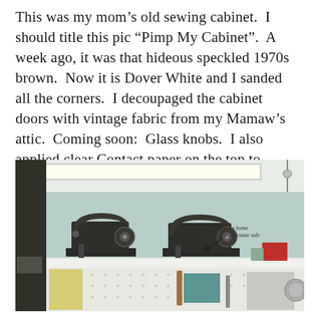This was my mom’s old sewing cabinet.  I should title this pic “Pimp My Cabinet”.  A week ago, it was that hideous speckled 1970s brown.  Now it is Dover White and I sanded all the corners.  I decoupaged the cabinet doors with vintage fabric from my Mamaw’s attic.  Coming soon:  Glass knobs.  I also applied clear Contact paper on the top to prevent smudges.  The paint that I had was satin, so it tends to kinda absorb dirt.
[Figure (photo): Photo of two antique Singer sewing machine heads displayed on a white shelf against a light blue wall, with fluorescent lighting above. Below the shelf is a pegboard with various sewing tools and supplies. An arrow and handwritten-style text annotation reads 'Tiny Singer hm home picked up at an estate sale'.]